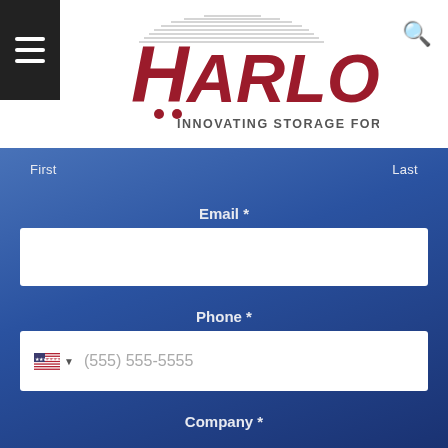Harloff — Innovating Storage for Care
[Figure (logo): Harloff company logo with text 'HARLOFF INNOVATING STORAGE FOR CARE' in red and dark red colors]
First
Last
Email *
Phone *
(555) 555-5555
Company *